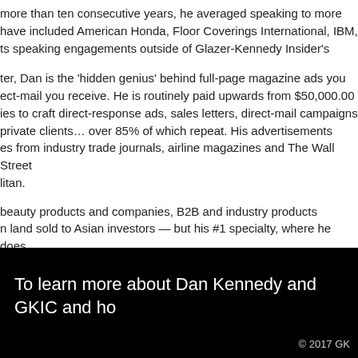more than ten consecutive years, he averaged speaking to more have included American Honda, Floor Coverings International, IBM, ts speaking engagements outside of Glazer-Kennedy Insider's
ter, Dan is the 'hidden genius' behind full-page magazine ads you ect-mail you receive. He is routinely paid upwards from $50,000.00 ies to craft direct-response ads, sales letters, direct-mail campaigns private clients… over 85% of which repeat. His advertisements es from industry trade journals, airline magazines and The Wall Street litan.
beauty products and companies, B2B and industry products n land sold to Asian investors — but his #1 specialty, where he does eting industry including book, home study course, online course and promoters; coaching organizations; and associations. Most new client base fee of $16,800.00, conducted in one of his two home cities. s are asked to communicate initially via a one to two page memo
To learn more about Dan Kennedy and GKIC and ho
© 2017 GK